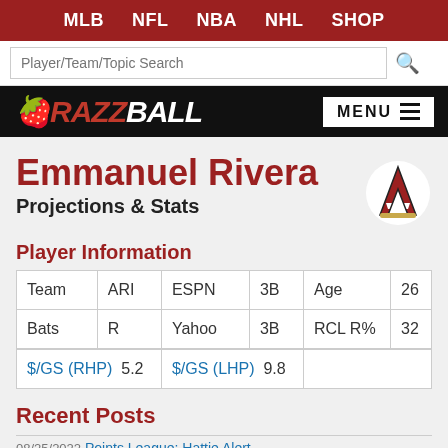MLB  NFL  NBA  NHL  SHOP
Player/Team/Topic Search
[Figure (logo): Razzball website logo in red and white italic bold text on black background]
Emmanuel Rivera
Projections & Stats
[Figure (logo): Arizona Diamondbacks team logo - red A with snake]
Player Information
| Team | ARI | ESPN | 3B | Age | 26 |
| Bats | R | Yahoo | 3B | RCL R% | 32 |
| $/GS (RHP) | 5.2 | $/GS (LHP) | 9.8 |  |  |
Recent Posts
08/25/2022  Points League: Hattie Alert